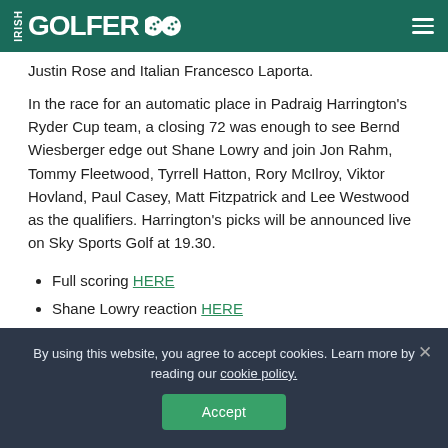IRISH GOLFER
Justin Rose and Italian Francesco Laporta.
In the race for an automatic place in Padraig Harrington's Ryder Cup team, a closing 72 was enough to see Bernd Wiesberger edge out Shane Lowry and join Jon Rahm, Tommy Fleetwood, Tyrrell Hatton, Rory McIlroy, Viktor Hovland, Paul Casey, Matt Fitzpatrick and Lee Westwood as the qualifiers. Harrington's picks will be announced live on Sky Sports Golf at 19.30.
Full scoring HERE
Shane Lowry reaction HERE
By using this website, you agree to accept cookies. Learn more by reading our cookie policy.